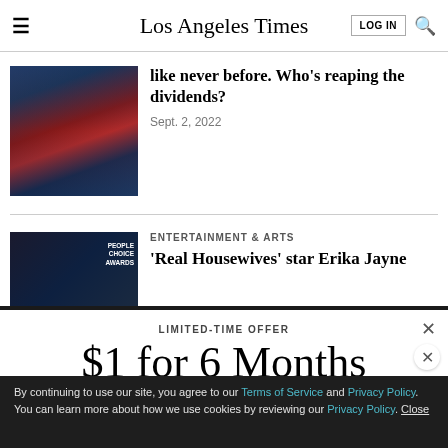Los Angeles Times — LOG IN
[Figure (photo): Collage of public figures including Harry, Trump and others against blue-tinted background]
like never before. Who's reaping the dividends?
Sept. 2, 2022
[Figure (photo): Dark photo with People Choice Awards text visible, entertainment event]
ENTERTAINMENT & ARTS
‘Real Housewives’ star Erika Jayne
LIMITED-TIME OFFER
$1 for 6 Months
SUBSCRIBE NOW
By continuing to use our site, you agree to our Terms of Service and Privacy Policy. You can learn more about how we use cookies by reviewing our Privacy Policy. Close